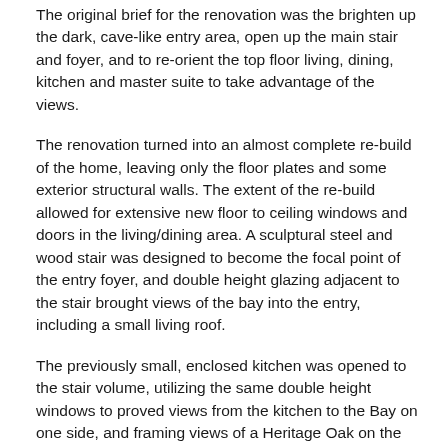The original brief for the renovation was the brighten up the dark, cave-like entry area, open up the main stair and foyer, and to re-orient the top floor living, dining, kitchen and master suite to take advantage of the views.
The renovation turned into an almost complete re-build of the home, leaving only the floor plates and some exterior structural walls. The extent of the re-build allowed for extensive new floor to ceiling windows and doors in the living/dining area. A sculptural steel and wood stair was designed to become the focal point of the entry foyer, and double height glazing adjacent to the stair brought views of the bay into the entry, including a small living roof.
The previously small, enclosed kitchen was opened to the stair volume, utilizing the same double height windows to proved views from the kitchen to the Bay on one side, and framing views of a Heritage Oak on the other. Walls were also removed to provide a free flowing spatial connection between all areas of the upper floor.
A new deck was cantilevered off of the top floor living area providing